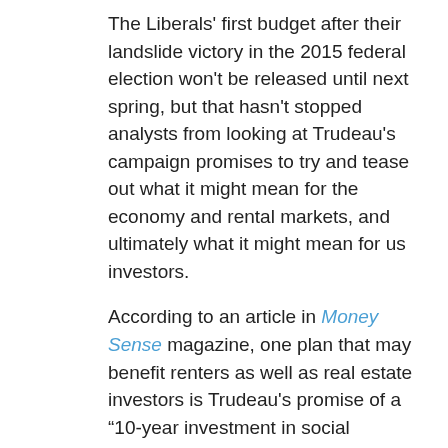The Liberals' first budget after their landslide victory in the 2015 federal election won't be released until next spring, but that hasn't stopped analysts from looking at Trudeau's campaign promises to try and tease out what it might mean for the economy and rental markets, and ultimately what it might mean for us investors.
According to an article in Money Sense magazine, one plan that may benefit renters as well as real estate investors is Trudeau's promise of a “10-year investment in social housing infrastructure, prioritizing affordable housing and seniors facilities (including more building units and refurbishing existing units) and tax breaks – including removal of GST on new capital investments – to encourage construction on new rental housing.”
The article also states that Trudeau's modest stimulus to boost the economy may cause higher interest rates, cooling the housing markets in places like Vancouver and Toronto. However, since Trudeau also promised to help